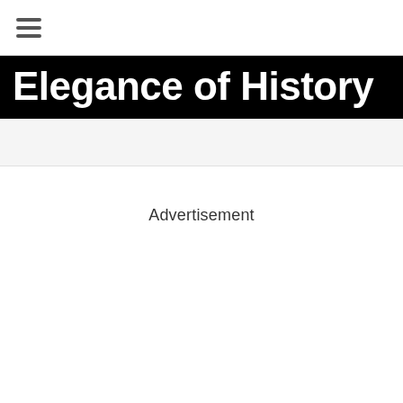≡
Elegance of History
Advertisement